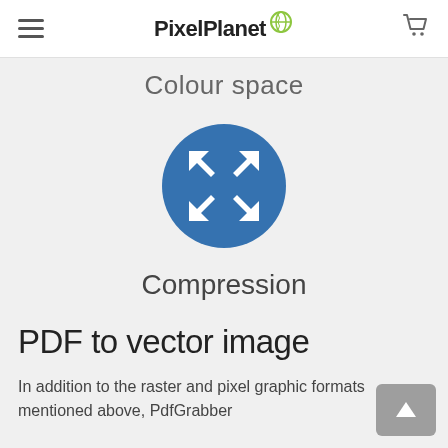PixelPlanet
Colour space
[Figure (illustration): Blue circle with white compression/collapse arrows icon pointing inward]
Compression
PDF to vector image
In addition to the raster and pixel graphic formats mentioned above, PdfGrabber